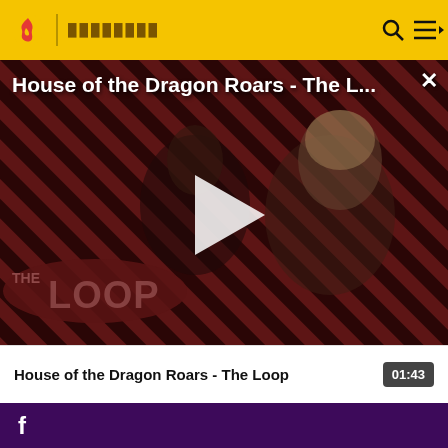🔥 | ████████
House of the Dragon Roars - The L...
[Figure (screenshot): Video thumbnail for 'House of the Dragon Roars - The Loop' showing two characters from House of the Dragon TV show against a diagonal red and dark stripe pattern background. A white play button triangle is centered on the image. The Loop logo appears in bottom left. A close (X) button is in the top right corner.]
House of the Dragon Roars - The Loop
01:43
f